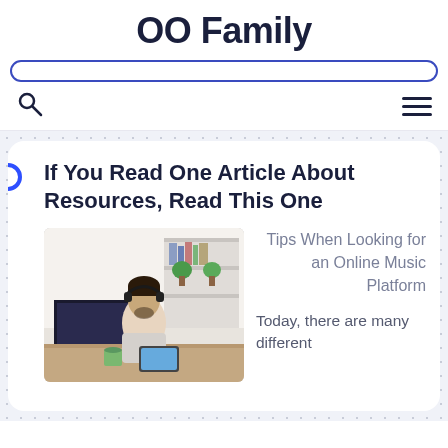OO Family
[Figure (screenshot): Website header bar with blue border and rounded corners]
[Figure (screenshot): Navigation bar with search icon on left and hamburger menu on right]
If You Read One Article About Resources, Read This One
[Figure (photo): Man with headphones sitting at desk with computer monitor and tablet in an office]
Tips When Looking for an Online Music Platform
Today, there are many different